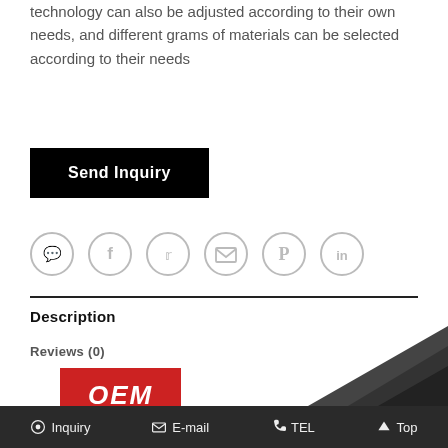technology can also be adjusted according to their own needs, and different grams of materials can be selected according to their needs
[Figure (other): Black 'Send Inquiry' button]
[Figure (other): Row of 6 social media icons: WhatsApp, Facebook, Twitter, Email, Pinterest, LinkedIn]
Description
Reviews (0)
[Figure (logo): Red OEM badge/logo with white bold italic text 'OEM']
[Figure (other): Dark angular shape / product image partially visible at bottom right]
Inquiry   E-mail   TEL   Top